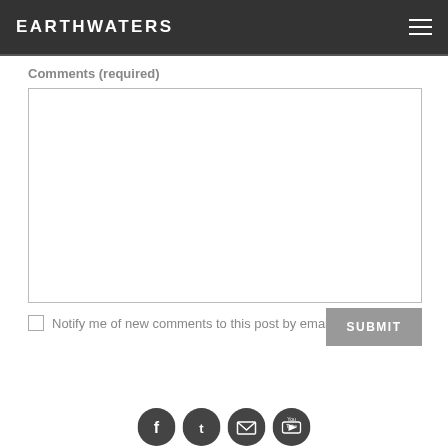EARTHWATERS
Comments (required)
Notify me of new comments to this post by email
SUBMIT